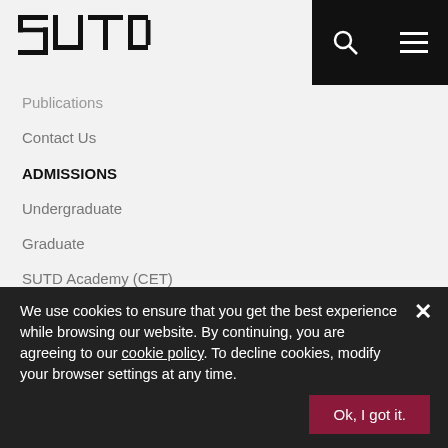[Figure (logo): SUTD logo in geometric block lettering style]
Publications
Contact Us
ADMISSIONS
Undergraduate
Graduate
SUTD Academy (CET)
EDUCATION
Unique Academic Structure
Pillars, Programmes and Clusters
campusX
Professorships
Academic Calendar
Library
Entrepreneurship
UxOP
Capstone
We use cookies to ensure that you get the best experience while browsing our website. By continuing, you are agreeing to our cookie policy. To decline cookies, modify your browser settings at any time.